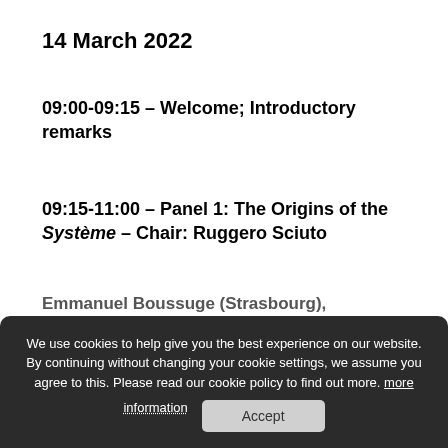14 March 2022
09:00-09:15 – Welcome; Introductory remarks
09:15-11:00 – Panel 1: The Origins of the Système – Chair: Ruggero Sciuto
We use cookies to help give you the best experience on our website. By continuing without changing your cookie settings, we assume you agree to this. Please read our cookie policy to find out more. more information  Accept
Emmanuel Boussuge (Strasbourg), Une analyse chronologique de sa minutieuse holbachique,